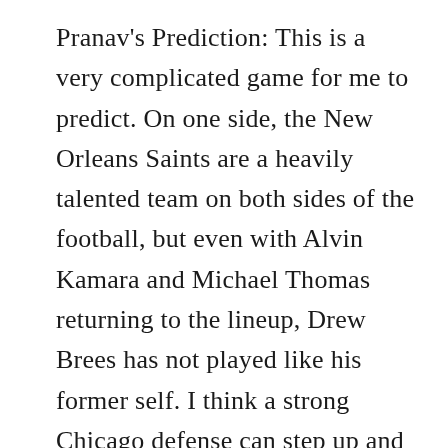Pranav's Prediction: This is a very complicated game for me to predict. On one side, the New Orleans Saints are a heavily talented team on both sides of the football, but even with Alvin Kamara and Michael Thomas returning to the lineup, Drew Brees has not played like his former self. I think a strong Chicago defense can step up and steal a few possessions from the Saints. While I do not believe an inexperienced Mitch Trubisky will